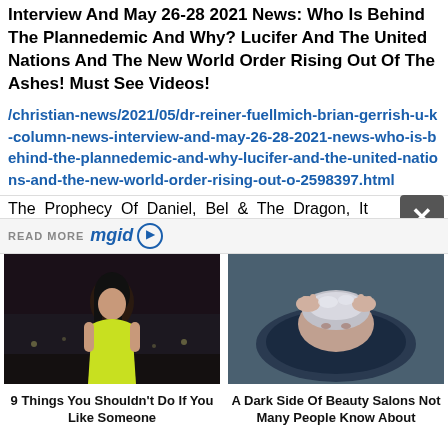Interview And May 26-28 2021 News: Who Is Behind The Plannedemic And Why? Lucifer And The United Nations And The New World Order Rising Out Of The Ashes! Must See Videos!
/christian-news/2021/05/dr-reiner-fuellmich-brian-gerrish-u-k-column-news-interview-and-may-26-28-2021-news-who-is-behind-the-plannedemic-and-why-lucifer-and-the-united-nations-and-the-new-world-order-rising-out-o-2598397.html
The Prophecy Of Daniel, Bel & The Dragon, It
READ MORE mgid
[Figure (photo): Woman in yellow-green dress posing at night]
9 Things You Shouldn't Do If You Like Someone
[Figure (photo): Person getting hair washed at salon]
A Dark Side Of Beauty Salons Not Many People Know About